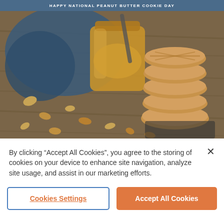HAPPY NATIONAL PEANUT BUTTER COOKIE DAY
[Figure (photo): Stack of peanut butter cookies on a wooden table next to a jar of peanut butter with a spoon, peanuts scattered around, blue cloth in background.]
By clicking “Accept All Cookies”, you agree to the storing of cookies on your device to enhance site navigation, analyze site usage, and assist in our marketing efforts.
Cookies Settings
Accept All Cookies